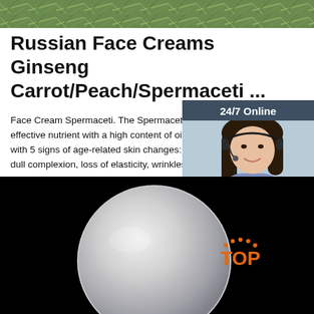[Figure (photo): Top banner image showing green plant/herb texture background]
Russian Face Creams Ginseng Carrot/Peach/Spermaceti ...
Face Cream Spermaceti. The Spermaceti cream effective nutrient with a high content of oils and f with 5 signs of age-related skin changes: uneven dull complexion, loss of elasticity, wrinkles, dryne
[Figure (infographic): 24/7 Online chat widget with woman wearing headset, Click here for free chat! and QUOTATION button]
[Figure (photo): Bottom image of a white/grey face cream jar on black background with TOP logo in orange]
Get Price